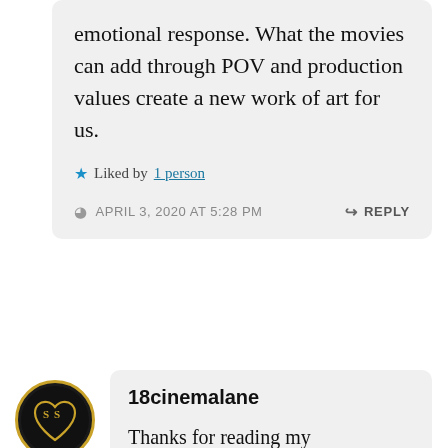emotional response. What the movies can add through POV and production values create a new work of art for us.
Liked by 1 person
APRIL 3, 2020 AT 5:28 PM
REPLY
[Figure (illustration): Circular avatar with black background showing golden SS letters inside a decorative heart outline in gold]
18cinemalane
Thanks for reading my review, Patricia! I agree